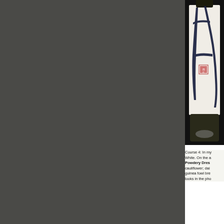[Figure (photo): Close-up photo of a sake bottle with white label featuring dark blue Japanese calligraphy brush strokes and a small red seal stamp. The bottle neck and bottom are visible against a black background.]
Course 4: In my White. On the a Powdery Dres cauliflower; dai guinea fowl bre looks in the pho